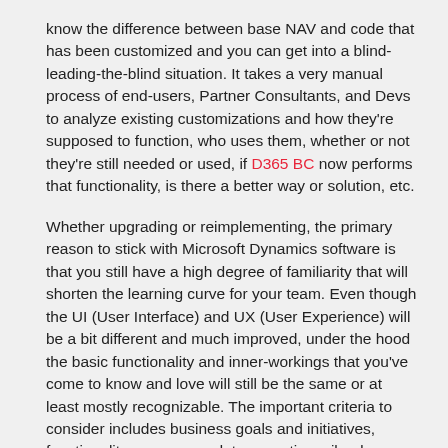know the difference between base NAV and code that has been customized and you can get into a blind-leading-the-blind situation. It takes a very manual process of end-users, Partner Consultants, and Devs to analyze existing customizations and how they're supposed to function, who uses them, whether or not they're still needed or used, if D365 BC now performs that functionality, is there a better way or solution, etc.
Whether upgrading or reimplementing, the primary reason to stick with Microsoft Dynamics software is that you still have a high degree of familiarity that will shorten the learning curve for your team. Even though the UI (User Interface) and UX (User Experience) will be a bit different and much improved, under the hood the basic functionality and inner-workings that you've come to know and love will still be the same or at least mostly recognizable. The important criteria to consider includes business goals and initiatives, functionality, processes, data, reporting, siloed information, customizations, ISV add-ons, time, costs, and associated risk. One should also